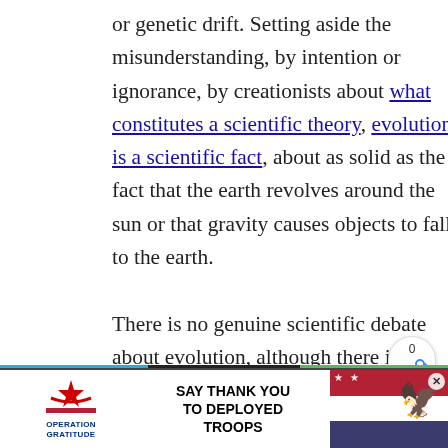or genetic drift. Setting aside the misunderstanding, by intention or ignorance, by creationists about what constitutes a scientific theory, evolution is a scientific fact, about as solid as the fact that the earth revolves around the sun or that gravity causes objects to fall to the earth.

There is no genuine scientific debate about evolution, although there is
[Figure (other): Share widget showing count 0 and share icon]
[Figure (other): Advertisement banner: Operation Gratitude — SAY THANK YOU TO DEPLOYED TROOPS, with patriotic imagery and mascot cartoon]